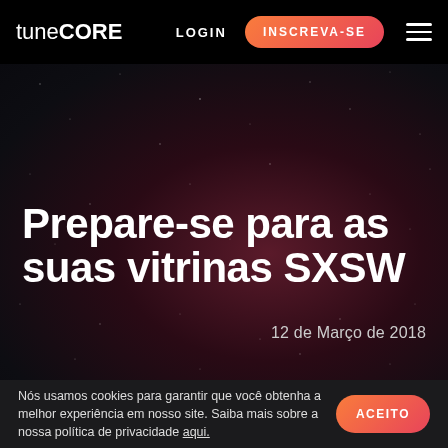tuneCORE  LOGIN  INSCREVA-SE
Prepare-se para as suas vitrinas SXSW
12 de Março de 2018
Nós usamos cookies para garantir que você obtenha a melhor experiência em nosso site. Saiba mais sobre a nossa política de privacidade aqui.
ACEITO